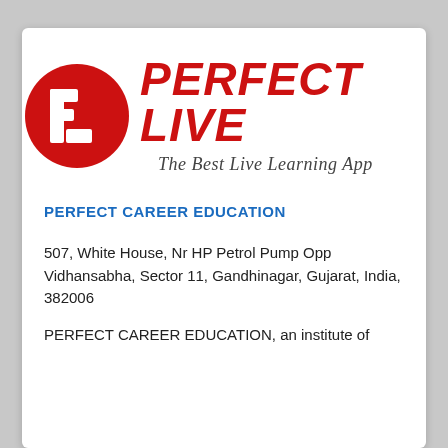[Figure (logo): Perfect Live logo: red oval with stylized PL letter mark, bold red italic text 'PERFECT LIVE', tagline 'The Best Live Learning App' in gray italic below]
PERFECT CAREER EDUCATION
507, White House, Nr HP Petrol Pump Opp Vidhansabha, Sector 11, Gandhinagar, Gujarat, India, 382006
PERFECT CAREER EDUCATION, an institute of